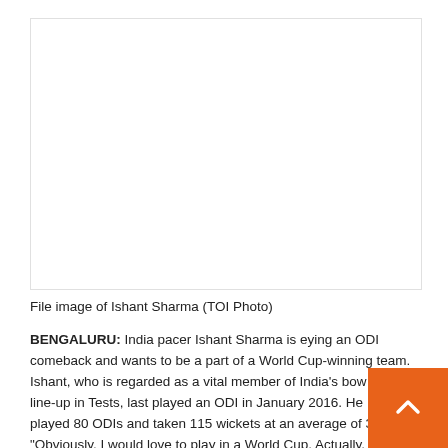[Figure (photo): File image of Ishant Sharma, white/blank image area]
File image of Ishant Sharma (TOI Photo)
BENGALURU: India pacer Ishant Sharma is eying an ODI comeback and wants to be a part of a World Cup-winning team.
Ishant, who is regarded as a vital member of India's bowling line-up in Tests, last played an ODI in January 2016. He has played 80 ODIs and taken 115 wickets at an average of 30.98.
"Obviously, I would love to play in a World Cup. Actually, I